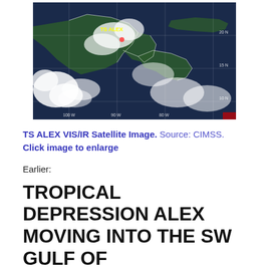[Figure (photo): Satellite VIS/IR image showing Tropical Storm Alex over Central America and the Gulf of Mexico region, with cloud formations visible and the label 'TS ALEX' in yellow text. Latitude/longitude gridlines visible. Source: CIMSS.]
TS ALEX VIS/IR Satellite Image. Source: CIMSS. Click image to enlarge
Earlier:
TROPICAL DEPRESSION ALEX MOVING INTO THE SW GULF OF MEXICO. MAY RESTRENGTHEN